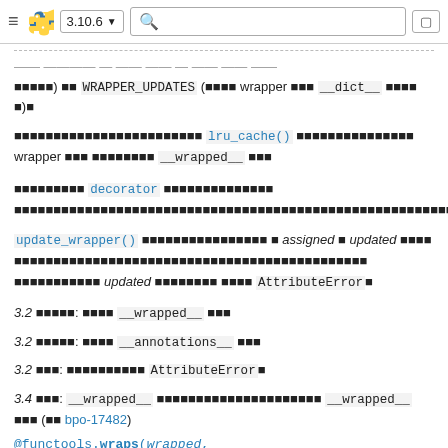3.10.6 [search]
โ€ฆ) โ WRAPPER_UPDATES (โ€ฆ wrapper โ€ฆ __dict__ โ€ฆ).
โ€ฆ lru_cache() โ€ฆ wrapper โ€ฆ __wrapped__ โ€ฆ
โ€ฆ decorator โ€ฆ โ€ฆ
update_wrapper() โ€ฆ assigned โ€ข updated โ€ฆ โ€ฆ updated โ€ฆ AttributeError.
3.2 โ€ฆ: โ€ฆ __wrapped__ โ€ฆ
3.2 โ€ฆ: โ€ฆ __annotations__ โ€ฆ
3.2 โ€ฆ: โ€ฆ AttributeError.
3.4 โ€ฆ: __wrapped__ โ€ฆ __wrapped__ โ€ฆ (โ€ฆ bpo-17482)
@functools.wraps(wrapped,